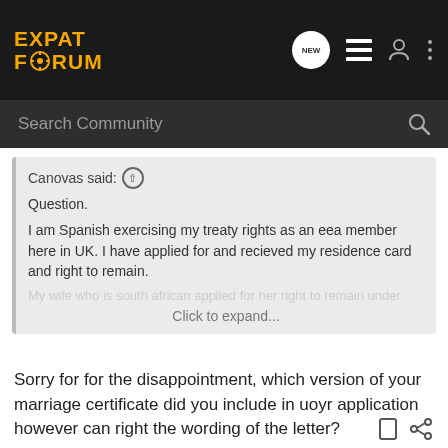EXPAT FORUM
Search Community
Canovas said: ↑

Question.

I am Spanish exercising my treaty rights as an eea member here in UK. I have applied for and recieved my residence card and right to remain.

My wife who is south african applied for her right to remain under
Click to expand...
Sorry for for the disappointment, which version of your marriage certificate did you include in uoyr application however can right the wording of the letter?